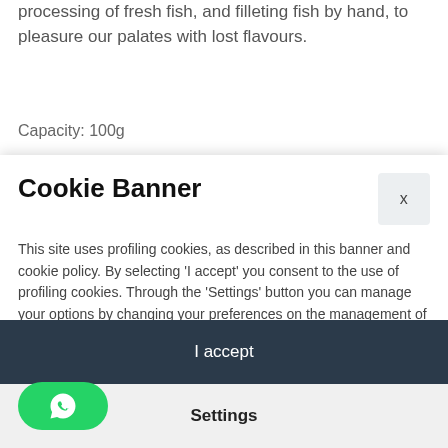processing of fresh fish, and filleting fish by hand, to pleasure our palates with lost flavours.
Capacity: 100g
Cookie Banner
This site uses profiling cookies, as described in this banner and cookie policy. By selecting 'I accept' you consent to the use of profiling cookies. Through the 'Settings' button you can manage your options by changing your preferences on the management of profiling cookies.
For more information please read our cookie policy.
I accept
Settings